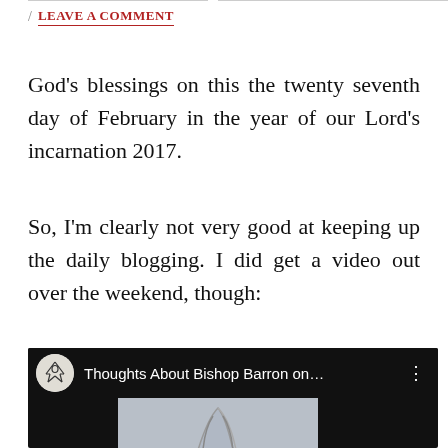/ LEAVE A COMMENT
God’s blessings on this the twenty seventh day of February in the year of our Lord’s incarnation 2017.
So, I’m clearly not very good at keeping up the daily blogging. I did get a video out over the weekend, though:
[Figure (screenshot): YouTube video thumbnail showing 'Thoughts About Bishop Barron on...' with a channel icon showing a figure with a bow, and a thumbnail of praying hands on a grey background.]